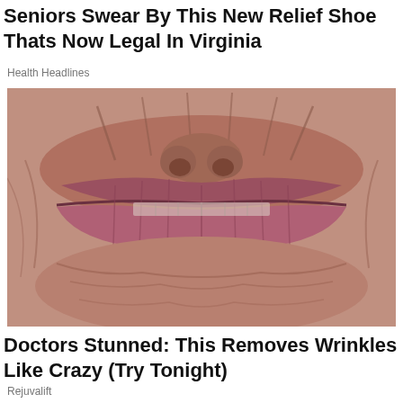Seniors Swear By This New Relief Shoe Thats Now Legal In Virginia
Health Headlines
[Figure (photo): Close-up photograph of an elderly person's mouth area showing heavily wrinkled skin around the lips]
Doctors Stunned: This Removes Wrinkles Like Crazy (Try Tonight)
Rejuvalift